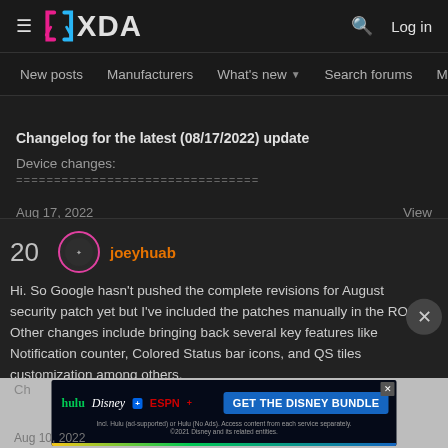XDA Forums - New posts | Manufacturers | What's new | Search forums | Members
Changelog for the latest (08/17/2022) update
Device changes:
================================
Aug 17, 2022  View
20  joeyhuab
Hi. So Google hasn't pushed the complete revisions for August security patch yet but I've included the patches manually in the ROM. Other changes include bringing back several key features like Notification counter, Colored Status bar icons, and QS tiles customization among others.
[Figure (screenshot): Disney Bundle advertisement banner showing Hulu, Disney+, ESPN+ logos with 'GET THE DISNEY BUNDLE' call to action button]
Aug 10, 2022